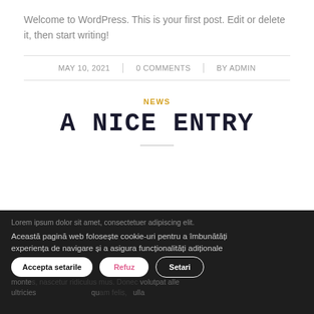Welcome to WordPress. This is your first post. Edit or delete it, then start writing!
MAY 10, 2021 | 0 COMMENTS | BY ADMIN
NEWS
A NICE ENTRY
Lorem ipsum dolor sit amet, consectetuer adipiscing elit. Aenean commodo ligula eget dolor. Aenean massa. Sociis natoque penatibus et magnis dis parturient montes, nascetur ridiculus mus. Donec quam felis, ultricies nec, pellentesque eu, pretium quis, sem. Nulla consequat massa quis enim.
Această pagină web folosește cookie-uri pentru a îmbunătăți experiența de navigare și a asigura funcționalități adiționale
Accepta setarile | Refuz | Setari